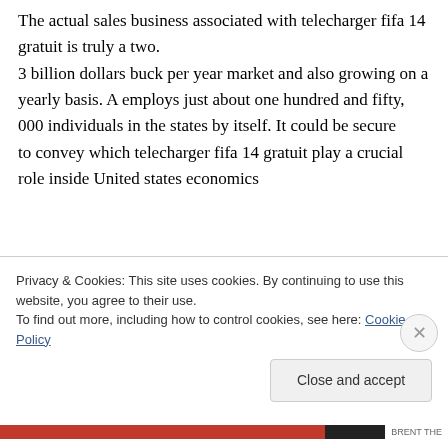The actual sales business associated with telecharger fifa 14 gratuit is truly a two. 3 billion dollars buck per year market and also growing on a yearly basis. A employs just about one hundred and fifty, 000 individuals in the states by itself. It could be secure to convey which telecharger fifa 14 gratuit play a crucial role inside United states economics
Privacy & Cookies: This site uses cookies. By continuing to use this website, you agree to their use. To find out more, including how to control cookies, see here: Cookie Policy
Close and accept